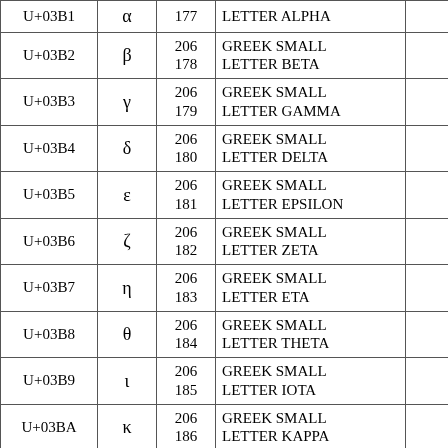| Code | Glyph | Num | Name | Alt |
| --- | --- | --- | --- | --- |
| U+03B1 | α | 177 | LETTER ALPHA |  |
| U+03B2 | β | 206
178 | GREEK SMALL
LETTER BETA |  |
| U+03B3 | γ | 206
179 | GREEK SMALL
LETTER GAMMA |  |
| U+03B4 | δ | 206
180 | GREEK SMALL
LETTER DELTA |  |
| U+03B5 | ε | 206
181 | GREEK SMALL
LETTER EPSILON |  |
| U+03B6 | ζ | 206
182 | GREEK SMALL
LETTER ZETA |  |
| U+03B7 | η | 206
183 | GREEK SMALL
LETTER ETA |  |
| U+03B8 | θ | 206
184 | GREEK SMALL
LETTER THETA |  |
| U+03B9 | ι | 206
185 | GREEK SMALL
LETTER IOTA |  |
| U+03BA | κ | 206
186 | GREEK SMALL
LETTER KAPPA |  |
| U+03BB | λ | 206
187 | GREEK SMALL
LETTER LAMDA | GREEK S
LETTER
LAMBDA |
| U+03BC |  | 206 | GREEK SMALL |  |